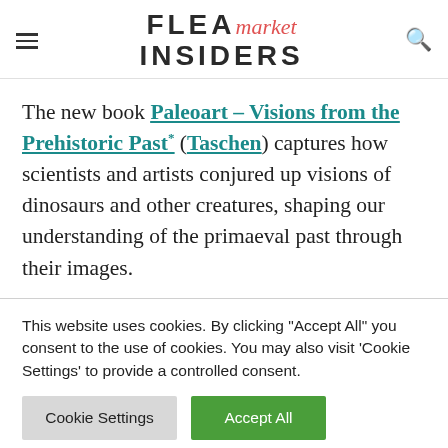FLEA market INSIDERS
The new book Paleoart – Visions from the Prehistoric Past* (Taschen) captures how scientists and artists conjured up visions of dinosaurs and other creatures, shaping our understanding of the primaeval past through their images.
This website uses cookies. By clicking "Accept All" you consent to the use of cookies. You may also visit 'Cookie Settings' to provide a controlled consent.